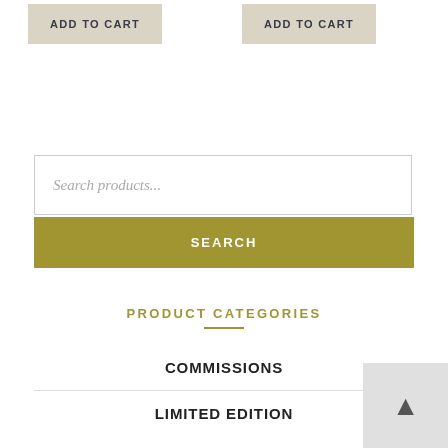ADD TO CART
ADD TO CART
Search products...
SEARCH
PRODUCT CATEGORIES
COMMISSIONS
LIMITED EDITION